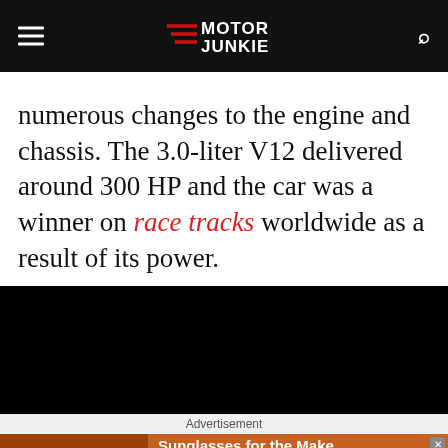Motor Junkie
numerous changes to the engine and chassis. The 3.0-liter V12 delivered around 300 HP and the car was a winner on race tracks worldwide as a result of its power.
[Figure (photo): Black image placeholder]
Advertisement
[Figure (photo): Advertisement banner: Sunglasses for the Make. TIMELESS STYLES, UNMATCHED QUALITY. SHOP NOW button.]